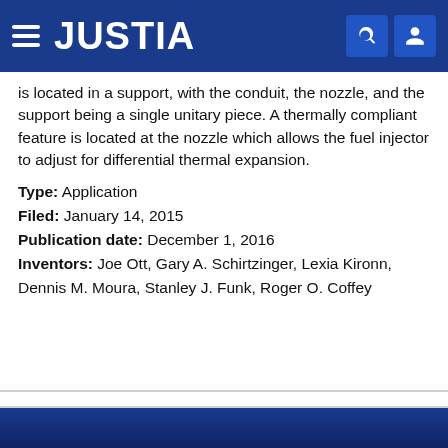JUSTIA
is located in a support, with the conduit, the nozzle, and the support being a single unitary piece. A thermally compliant feature is located at the nozzle which allows the fuel injector to adjust for differential thermal expansion.
Type: Application
Filed: January 14, 2015
Publication date: December 1, 2016
Inventors: Joe Ott, Gary A. Schirtzinger, Lexia Kironn, Dennis M. Moura, Stanley J. Funk, Roger O. Coffey
1  2  3  NEXT